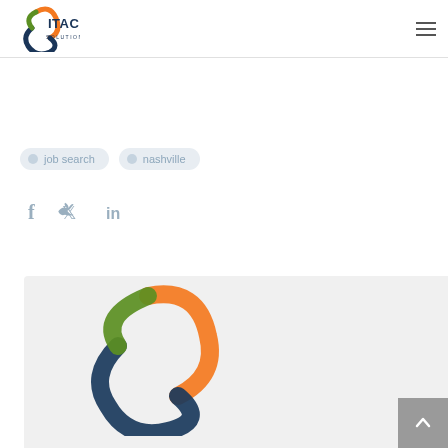ITAC Solutions
If you are interested in finding ITAC nashville. Contact the team today to learn more about our staffing resources.
job search
nashville
[Figure (logo): Social media icons: Facebook (f), Twitter (bird), LinkedIn (in)]
[Figure (logo): ITAC Solutions logo — circular swoosh in orange, dark blue, and green, with ITAC SOLUTIONS wordmark]